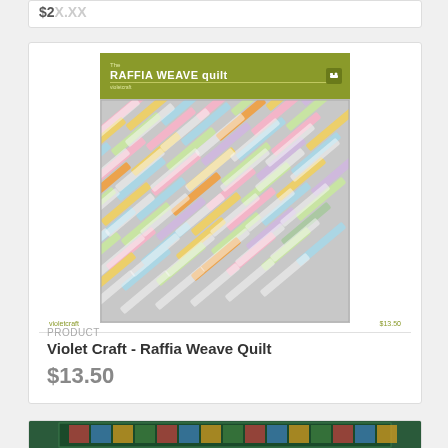$2X.XX (partial price, top of page)
[Figure (photo): Raffia Weave Quilt pattern product image showing an olive green header banner with 'The RAFFIA WEAVE quilt' text and a sewing machine icon, below which is a quilt with colorful diagonal woven strips on a gray background]
PRODUCT
Violet Craft - Raffia Weave Quilt
$13.50
[Figure (photo): Partial view of another quilt product with dark teal border and colorful quilt blocks visible at the bottom of the page]